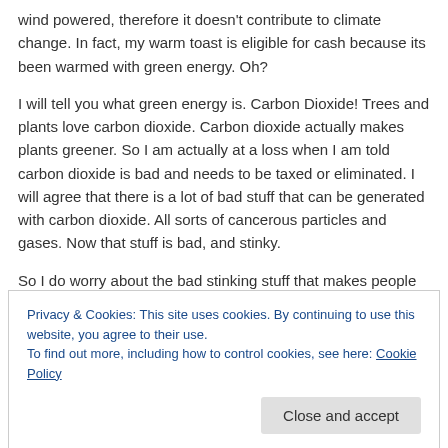wind powered, therefore it doesn't contribute to climate change. In fact, my warm toast is eligible for cash because its been warmed with green energy. Oh?
I will tell you what green energy is. Carbon Dioxide! Trees and plants love carbon dioxide. Carbon dioxide actually makes plants greener. So I am actually at a loss when I am told carbon dioxide is bad and needs to be taxed or eliminated. I will agree that there is a lot of bad stuff that can be generated with carbon dioxide. All sorts of cancerous particles and gases. Now that stuff is bad, and stinky.
So I do worry about the bad stinking stuff that makes people sick. I just don't worry about Co2, because it
Privacy & Cookies: This site uses cookies. By continuing to use this website, you agree to their use.
To find out more, including how to control cookies, see here: Cookie Policy
Back to Trump and the EPA, the EPA needs to